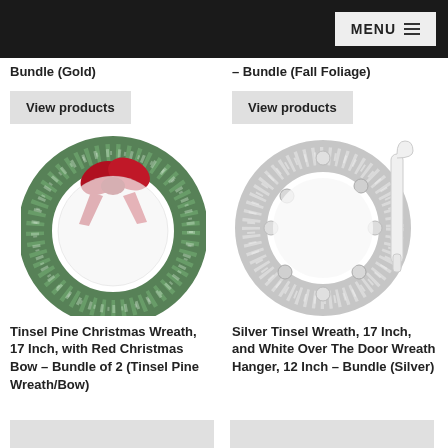MENU
Bundle (Gold)
– Bundle (Fall Foliage)
View products
View products
[Figure (photo): Green tinsel pine Christmas wreath with large red bow]
[Figure (photo): Silver tinsel wreath with white over-the-door wreath hanger]
Tinsel Pine Christmas Wreath, 17 Inch, with Red Christmas Bow – Bundle of 2 (Tinsel Pine Wreath/Bow)
Silver Tinsel Wreath, 17 Inch, and White Over The Door Wreath Hanger, 12 Inch – Bundle (Silver)